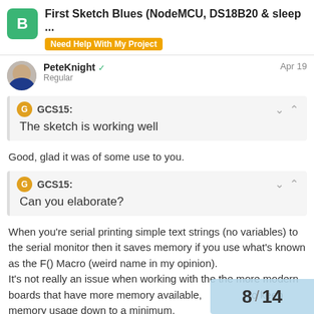First Sketch Blues (NodeMCU, DS18B20 & sleep ...
Need Help With My Project
PeteKnight ✓
Regular
Apr 19
GCS15:
The sketch is working well
Good, glad it was of some use to you.
GCS15:
Can you elaborate?
When you're serial printing simple text strings (no variables) to the serial monitor then it saves memory if you use what's known as the F() Macro (weird name in my opinion).
It's not really an issue when working with the the more modern boards that have more memory available, but it's good practice to keep memory usage down to a minimum.
8 / 14